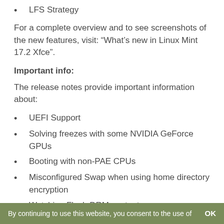LFS Strategy
For a complete overview and to see screenshots of the new features, visit: “What’s new in Linux Mint 17.2 Xfce”.
Important info:
The release notes provide important information about:
UEFI Support
Solving freezes with some NVIDIA GeForce GPUs
Booting with non-PAE CPUs
Misconfigured Swap when using home directory encryption
Watching Flash DRM content
DVD Playback with VLC
Issues with KDE apps
By continuing to use this website, you consent to the use of    OK